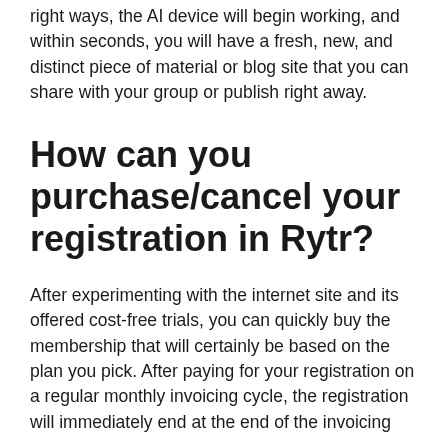right ways, the AI device will begin working, and within seconds, you will have a fresh, new, and distinct piece of material or blog site that you can share with your group or publish right away.
How can you purchase/cancel your registration in Rytr?
After experimenting with the internet site and its offered cost-free trials, you can quickly buy the membership that will certainly be based on the plan you pick. After paying for your registration on a regular monthly invoicing cycle, the registration will immediately end at the end of the invoicing